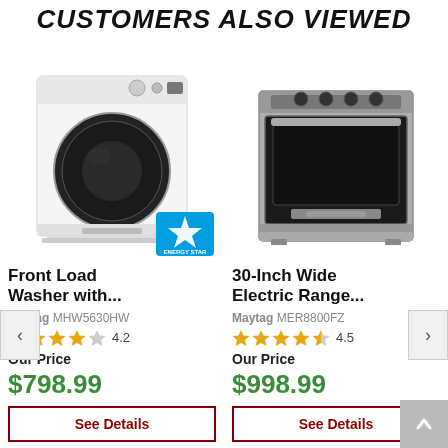CUSTOMERS ALSO VIEWED
[Figure (photo): White Maytag front load washer with Energy Star badge]
Front Load Washer with...
Maytag MHW5630HW
4.2 stars
Our Price
$798.99
See Details
[Figure (photo): Stainless steel Maytag 30-inch electric range]
30-Inch Wide Electric Range...
Maytag MER8800FZ
4.5 stars
Our Price
$998.99
See Details